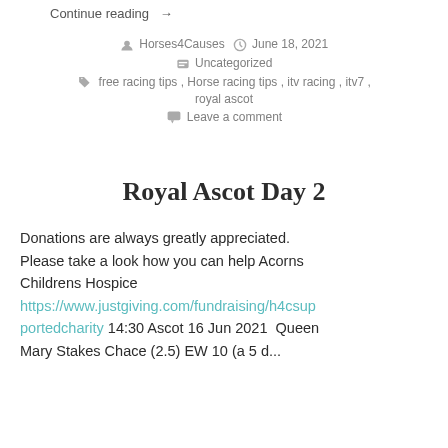Continue reading →
Horses4Causes   June 18, 2021
Uncategorized
free racing tips, Horse racing tips, itv racing, itv7, royal ascot
Leave a comment
Royal Ascot Day 2
Donations are always greatly appreciated. Please take a look how you can help Acorns Childrens Hospice https://www.justgiving.com/fundraising/h4csupportedcharity 14:30 Ascot 16 Jun 2021  Queen Mary Stakes Chace (2.5) EW 10 (a 5 d...